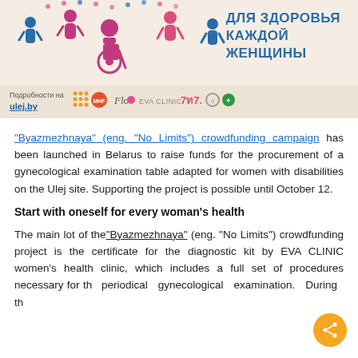[Figure (illustration): Crowdfunding campaign banner with stylized figures of people, Cyrillic text 'ДЛЯ ЗДОРОВЬЯ КАЖДОЙ ЖЕНЩИНЫ' (For the health of every woman), reference to ulej.by, and sponsor logos including Flo, EVA CLINIC, and others.]
"Byazmezhnaya" (eng. "No Limits") crowdfunding campaign has been launched in Belarus to raise funds for the procurement of a gynecological examination table adapted for women with disabilities on the Ulej site. Supporting the project is possible until October 12.
Start with oneself for every woman's health
The main lot of the "Byazmezhnaya" (eng. "No Limits") crowdfunding project is the certificate for the diagnostic kit by EVA CLINIC women's health clinic, which includes a full set of procedures necessary for the periodical gynecological examination. During th